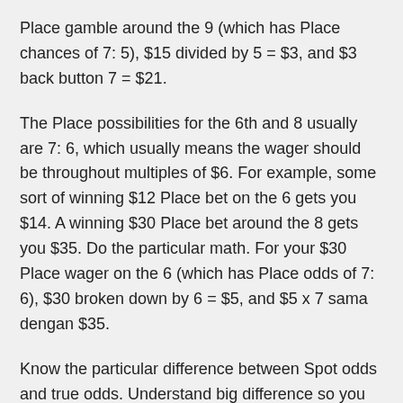Place gamble around the 9 (which has Place chances of 7: 5), $15 divided by 5 = $3, and $3 back button 7 = $21.
The Place possibilities for the 6th and 8 usually are 7: 6, which usually means the wager should be throughout multiples of $6. For example, some sort of winning $12 Place bet on the 6 gets you $14. A winning $30 Place bet around the 8 gets you $35. Do the particular math. For your $30 Place wager on the 6 (which has Place odds of 7: 6), $30 broken down by 6 = $5, and $5 x 7 sama dengan $35.
Know the particular difference between Spot odds and true odds. Understand big difference so you need not think about that. You don’t desire to look like the newbie fumbling close to with simply how much to put